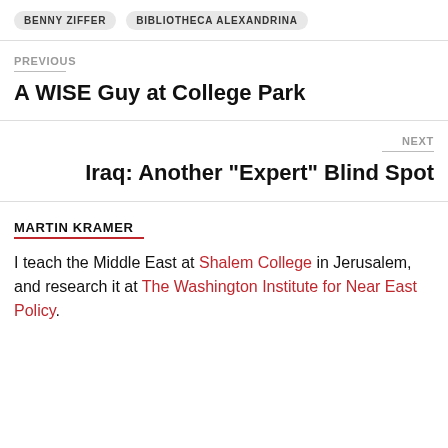BENNY ZIFFER  BIBLIOTHECA ALEXANDRINA
PREVIOUS
A WISE Guy at College Park
NEXT
Iraq: Another “Expert” Blind Spot
MARTIN KRAMER
I teach the Middle East at Shalem College in Jerusalem, and research it at The Washington Institute for Near East Policy.